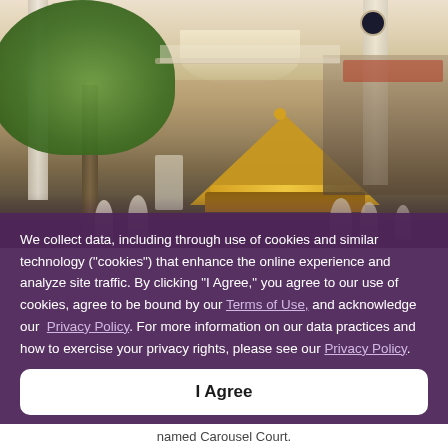[Figure (photo): Interior photo of a shopping mall showing a carousel with a gold/yellow tent, trees, shoppers, and retail stores in the background.]
We collect data, including through use of cookies and similar technology ("cookies") that enhance the online experience and analyze site traffic. By clicking "I Agree," you agree to our use of cookies, agree to be bound by our Terms of Use, and acknowledge our Privacy Policy. For more information on our data practices and how to exercise your privacy rights, please see our Privacy Policy.
I Agree
named Carousel Court.